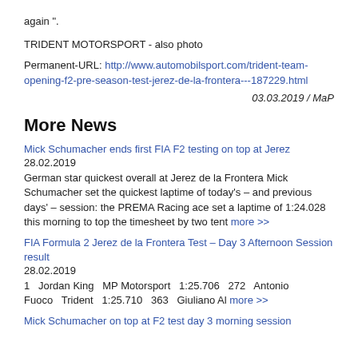again ".
TRIDENT MOTORSPORT - also photo
Permanent-URL: http://www.automobilsport.com/trident-team-opening-f2-pre-season-test-jerez-de-la-frontera---187229.html
03.03.2019 / MaP
More News
Mick Schumacher ends first FIA F2 testing on top at Jerez
28.02.2019
German star quickest overall at Jerez de la Frontera Mick Schumacher set the quickest laptime of today's – and previous days' – session: the PREMA Racing ace set a laptime of 1:24.028 this morning to top the timesheet by two tent more >>
FIA Formula 2 Jerez de la Frontera Test – Day 3 Afternoon Session result
28.02.2019
1   Jordan King   MP Motorsport   1:25.706   272   Antonio Fuoco   Trident   1:25.710   363   Giuliano Al more >>
Mick Schumacher on top at F2 test day 3 morning session